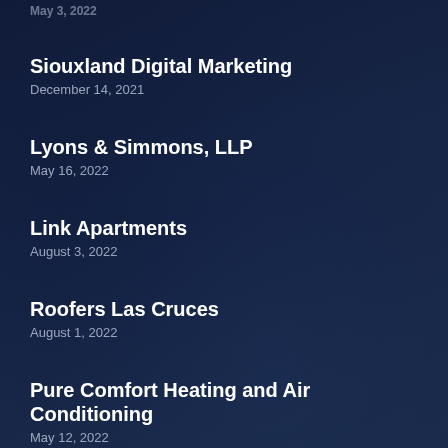Siouxland Digital Marketing
December 14, 2021
Lyons & Simmons, LLP
May 16, 2022
Link Apartments
August 3, 2022
Roofers Las Cruces
August 1, 2022
Pure Comfort Heating and Air Conditioning
May 12, 2022